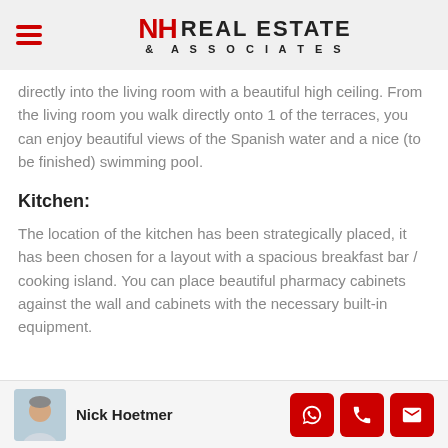NH Real Estate & Associates
directly into the living room with a beautiful high ceiling. From the living room you walk directly onto 1 of the terraces, you can enjoy beautiful views of the Spanish water and a nice (to be finished) swimming pool.
Kitchen:
The location of the kitchen has been strategically placed, it has been chosen for a layout with a spacious breakfast bar / cooking island. You can place beautiful pharmacy cabinets against the wall and cabinets with the necessary built-in equipment.
Nick Hoetmer